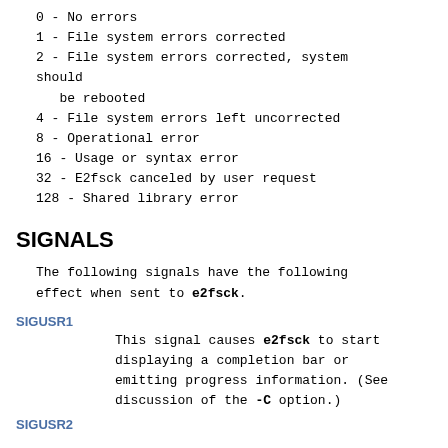0 - No errors
1 - File system errors corrected
2 - File system errors corrected, system should
   be rebooted
4 - File system errors left uncorrected
8 - Operational error
16 - Usage or syntax error
32 - E2fsck canceled by user request
128 - Shared library error
SIGNALS
The following signals have the following effect when sent to e2fsck.
SIGUSR1
This signal causes e2fsck to start displaying a completion bar or emitting progress information. (See discussion of the -C option.)
SIGUSR2